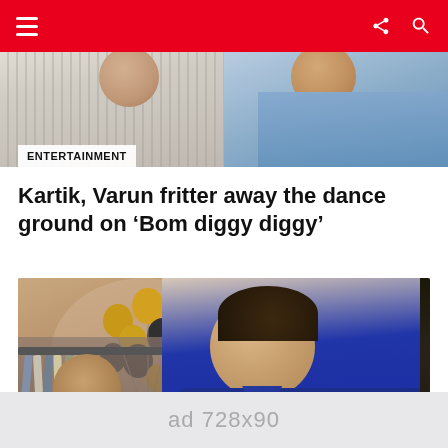Navigation bar with menu, share and search icons
[Figure (photo): Top banner image showing two people, one in striped clothing on left, one in blue shirt on right. Entertainment category tag overlaid at bottom left.]
ENTERTAINMENT
Kartik, Varun fritter away the dance ground on ‘Bom diggy diggy’
[Figure (photo): Young man in navy blue shirt smiling, standing in what appears to be a clothing store with black and gold balloons in the background. A close button is visible at the bottom right of the image.]
ad 728x90